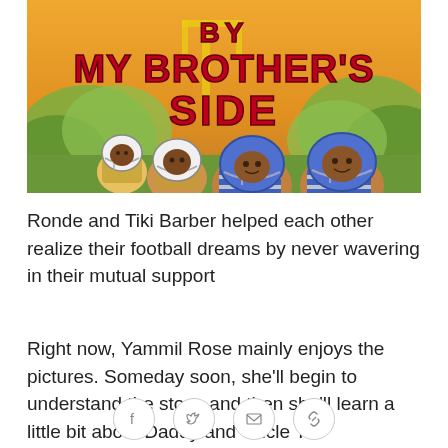[Figure (illustration): Book cover of 'By My Brother's Side' showing the title text in large red letters on a golden/orange background, with illustrated football players in blue helmets and uniforms in the foreground and colorful foliage in the background.]
Ronde and Tiki Barber helped each other realize their football dreams by never wavering in their mutual support
Right now, Yammil Rose mainly enjoys the pictures. Someday soon, she'll begin to understand the story, and then she'll learn a little bit about Daddy and Uncle Tiki
[Figure (other): Social sharing icons: Facebook, Twitter, Email, and Link/Chain icon buttons in circular outlines at the bottom of the page.]